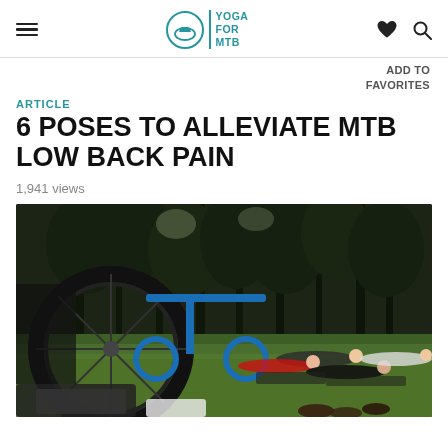YOGA FOR MTB
ADD TO FAVORITES
ARTICLE
6 POSES TO ALLEVIATE MTB LOW BACK PAIN
1,941 views
[Figure (photo): Outdoor yoga session on grass with mountain bikes in the foreground and people lying on yoga mats in a forest clearing]